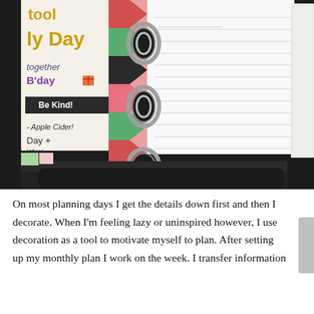[Figure (photo): Close-up photograph of an open ring binder planner on a dark surface. The left page shows colorful decorative stickers and handwritten notes including 'B'day', 'together', 'Apple Cider', 'Day+'. A colorful washi tape strip in pink, green and black chevron runs down the center spine. The right page shows lined notebook paper. Three silver binder rings are visible in the center.]
On most planning days I get the details down first and then I decorate. When I'm feeling lazy or uninspired however, I use decoration as a tool to motivate myself to plan. After setting up my monthly plan I work on the week. I transfer information